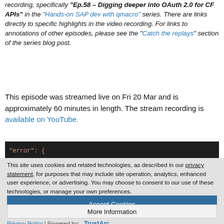recording, specifically "Ep.58 – Digging deeper into OAuth 2.0 for CF APIs" in the "Hands-on SAP dev with qmacro" series. There are links directly to specific highlights in the video recording. For links to annotations of other episodes, please see the "Catch the replays" section of the series blog post.
This episode was streamed live on Fri 20 Mar and is approximately 60 minutes in length. The stream recording is available on YouTube.
[Figure (screenshot): Dark code editor screenshot showing a snippet with orange/rust colored text starting with a string literal and an opening brace]
This site uses cookies and related technologies, as described in our privacy statement, for purposes that may include site operation, analytics, enhanced user experience, or advertising. You may choose to consent to our use of these technologies, or manage your own preferences.
Accept Cookies
More Information
Privacy Policy | Powered by: TrustArc